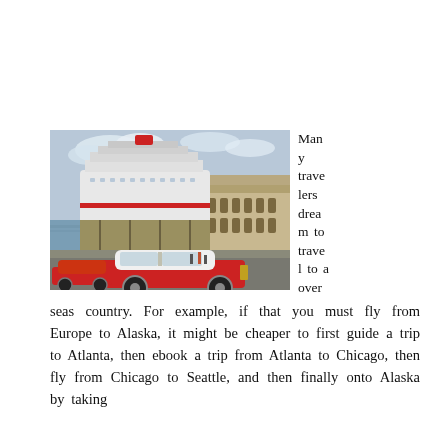[Figure (photo): Photo of classic vintage red and white car in foreground on a waterfront road, with a large white cruise ship docked behind, and a historic building to the right. Cloudy sky overhead. People visible near the seawall.]
Many travelers dream to travel to a overseas country. For example, if that you must fly from Europe to Alaska, it might be cheaper to first guide a trip to Atlanta, then ebook a trip from Atlanta to Chicago, then fly from Chicago to Seattle, and then finally onto Alaska by taking